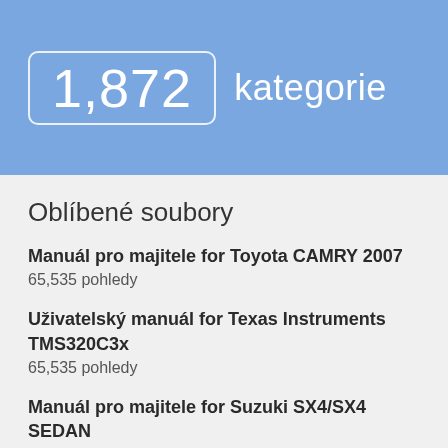1,872 kategorie
Oblíbené soubory
Manuál pro majitele for Toyota CAMRY 2007
65,535 pohledy
Uživatelský manuál for Texas Instruments TMS320C3x
65,535 pohledy
Manuál pro majitele for Suzuki SX4/SX4 SEDAN
65,535 pohledy
Manuál pro majitele for Suzuki Grand Vitara 99011-66J22-03E
65,535 pohledy
Manuál pro majitele for Suzuki Alto